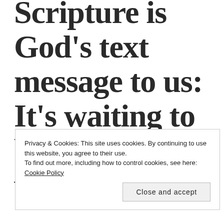Scripture is God's text message to us: It's waiting to be read, and when
Privacy & Cookies: This site uses cookies. By continuing to use this website, you agree to their use.
To find out more, including how to control cookies, see here: Cookie Policy
Close and accept